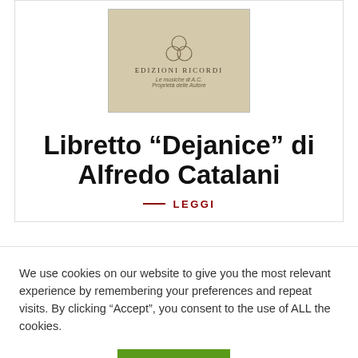[Figure (illustration): Book cover thumbnail showing Edizioni Ricordi publisher logo with three interlocking circles and italic text below]
Libretto “Dejanice” di Alfredo Catalani
— LEGGI
We use cookies on our website to give you the most relevant experience by remembering your preferences and repeat visits. By clicking “Accept”, you consent to the use of ALL the cookies.
Cookie settings   ACCETTA